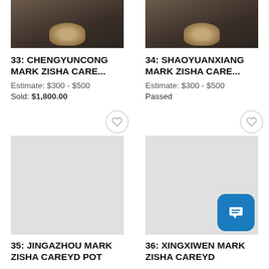[Figure (photo): Auction lot 33 thumbnail: ceramic/zisha teapot on dark background]
[Figure (photo): Auction lot 34 thumbnail: ceramic/zisha teapot on dark background]
33: CHENGYUNCONG MARK ZISHA CARE...
34: SHAOYUANXIANG MARK ZISHA CARE...
Estimate: $300 - $500
Sold: $1,800.00
Estimate: $300 - $500
Passed
[Figure (photo): Auction lot 35 placeholder image (empty/loading)]
[Figure (photo): Auction lot 36 placeholder image (empty/loading)]
35: JINGAZHOU MARK ZISHA CAREYD POT
36: XINGXIWEN MARK ZISHA CAREYD